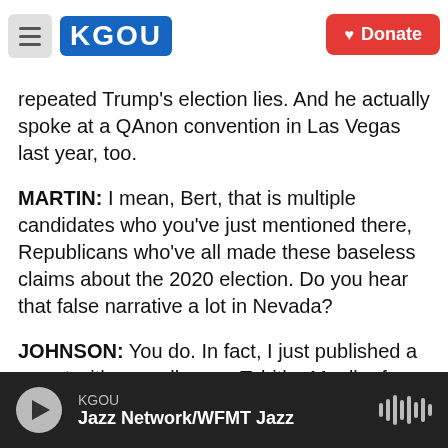KGOU [logo] Donate
repeated Trump's election lies. And he actually spoke at a QAnon convention in Las Vegas last year, too.
MARTIN: I mean, Bert, that is multiple candidates who you've just mentioned there, Republicans who've all made these baseless claims about the 2020 election. Do you hear that false narrative a lot in Nevada?
JOHNSON: You do. In fact, I just published a report with my colleague Tabitha Mueller from one of our partner newsrooms, The Nevada Independent. There were... we were looking into state legislative
KGOU | Jazz Network/WFMT Jazz